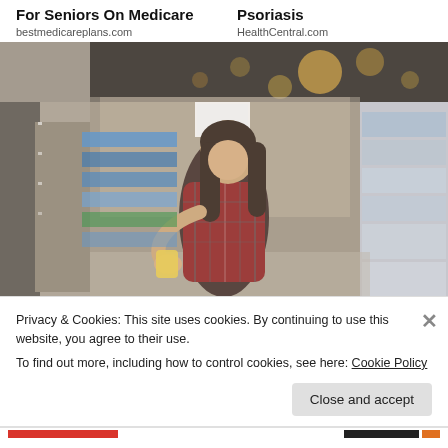For Seniors On Medicare
Psoriasis
bestmedicareplans.com
HealthCentral.com
[Figure (photo): Woman in plaid shirt reading a product label in a supermarket aisle with shelves of products around her.]
Privacy & Cookies: This site uses cookies. By continuing to use this website, you agree to their use.
To find out more, including how to control cookies, see here: Cookie Policy
Close and accept